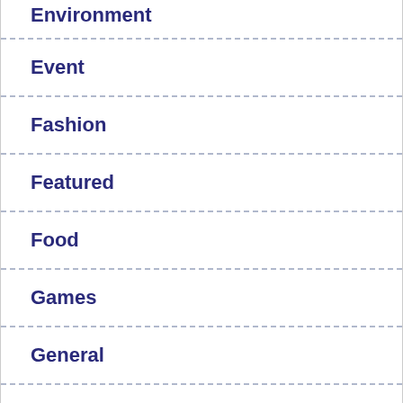Environment
Event
Fashion
Featured
Food
Games
General
Health
History
Human
Infrastructure